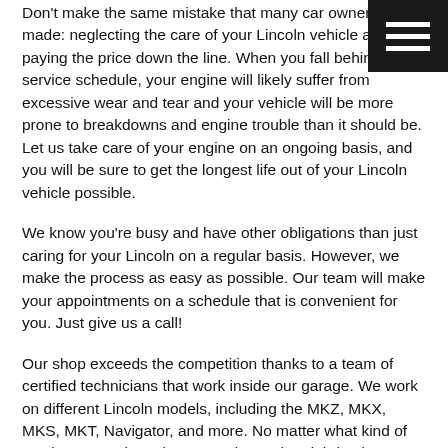Don't make the same mistake that many car owners have made: neglecting the care of your Lincoln vehicle and paying the price down the line. When you fall behind your service schedule, your engine will likely suffer from excessive wear and tear and your vehicle will be more prone to breakdowns and engine trouble than it should be. Let us take care of your engine on an ongoing basis, and you will be sure to get the longest life out of your Lincoln vehicle possible.
We know you're busy and have other obligations than just caring for your Lincoln on a regular basis. However, we make the process as easy as possible. Our team will make your appointments on a schedule that is convenient for you. Just give us a call!
Our shop exceeds the competition thanks to a team of certified technicians that work inside our garage. We work on different Lincoln models, including the MKZ, MKX, MKS, MKT, Navigator, and more. No matter what kind of service or repair work you need completed, bring it to us and we will take care of it with ease. Come see us today!